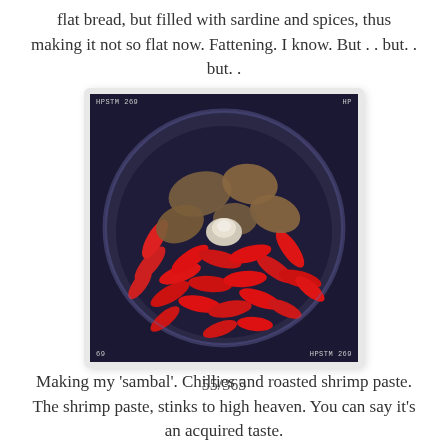flat bread, but filled with sardine and spices, thus making it not so flat now. Fattening. I know. But . . but. . but. .
[Figure (photo): A food processor bowl viewed from above, filled with many small red chili peppers and chunks of roasted shrimp paste (belacan). The bowl has a clear plastic lid partially visible at the top. Photo metadata text visible: 'HPSTM 269' at top left and bottom right, '69' at bottom left.]
55/365
Making my 'sambal'. Chillies and roasted shrimp paste. The shrimp paste, stinks to high heaven. You can say it's an acquired taste.